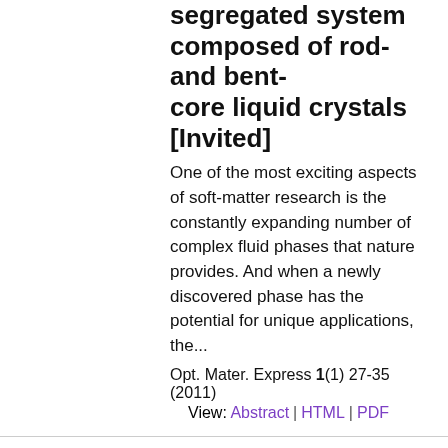segregated system composed of rod- and bent-core liquid crystals [Invited]
One of the most exciting aspects of soft-matter research is the constantly expanding number of complex fluid phases that nature provides. And when a newly discovered phase has the potential for unique applications, the...
Opt. Mater. Express 1(1) 27-35 (2011)
View: Abstract | HTML | PDF
Spotlight Summary by Giovanni Piredda
[Figure (illustration): Illustration showing an orbital angular momentum diagram with concentric elliptical shapes and a beam pattern, rendered with rainbow/spectral coloring on a light purple background.]
Orbital angular momentum in noncollinear second-harmonic generation by off-